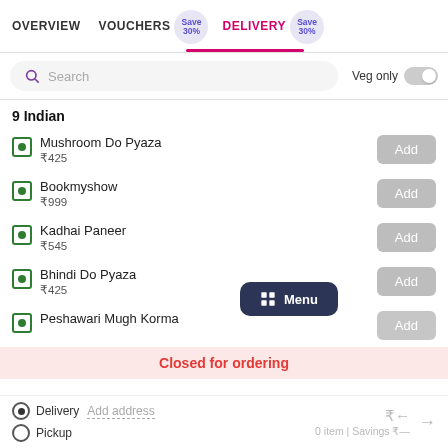OVERVIEW   VOUCHERS Save 30%   DELIVERY Save 30%
Search   Veg only
9 Indian
Mushroom Do Pyaza ₹425
Bookmyshow ₹999
Kadhai Paneer ₹545
Bhindi Do Pyaza ₹425
Peshawari Mugh Korma
Closed for ordering
Delivery Add address   Pickup   ₹← 0 item | Savings ₹—  →